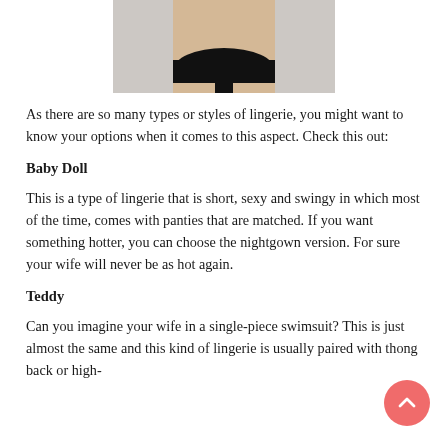[Figure (photo): Cropped photo of a woman's torso wearing black lingerie bottoms, light gray background]
As there are so many types or styles of lingerie, you might want to know your options when it comes to this aspect. Check this out:
Baby Doll
This is a type of lingerie that is short, sexy and swingy in which most of the time, comes with panties that are matched. If you want something hotter, you can choose the nightgown version. For sure your wife will never be as hot again.
Teddy
Can you imagine your wife in a single-piece swimsuit? This is just almost the same and this kind of lingerie is usually paired with thong back or high-